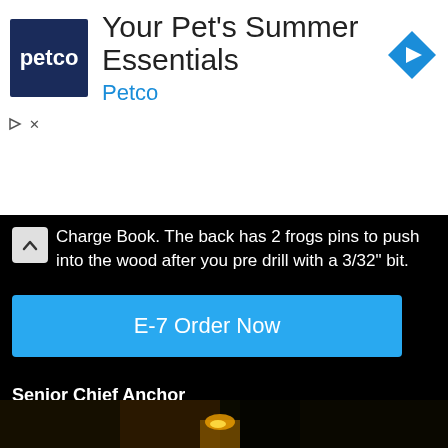[Figure (screenshot): Petco advertisement banner with Petco logo on dark blue background, headline 'Your Pet's Summer Essentials', brand name 'Petco' in blue, and blue navigation diamond arrow icon on right]
Charge Book. The back has 2 frogs pins to push into the wood after you pre drill with a 3/32" bit.
E-7 Order Now
Senior Chief Anchor
$26.99 free delivery
Master Chief Anchor
$26.99 free delivery
[Figure (photo): Bottom partial image showing dark scene with orange/warm light, appears to be an outdoor nighttime photo]